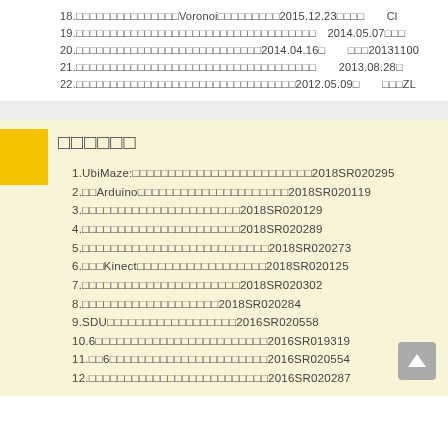18.□□□□□□□□□□□□□□□Voronoi□□□□□□□□□2015.12.23□□□□　　Cl
19.□□□□□□□□□□□□□□□□□□□□□□□□□□□□□□□□□□□　2014.05.07□□□
20.□□□□□□□□□□□□□□□□□□□□□□□□□□□2014.04.16□　　□□□20131100
21.□□□□□□□□□□□□□□□□□□□□□□□□□□□□□□□□□□□　　2013.08.28□
22.□□□□□□□□□□□□□□□□□□□□□□□□□□□□□□□□2012.05.09□　　□□□ZL
□□□□□□
1.UbiMaze:□□□□□□□□□□□□□□□□□□□□□□□□□2018SR020295
2.□□Arduino□□□□□□□□□□□□□□□□□□□□□2018SR020119
3.□□□□□□□□□□□□□□□□□□□□□□2018SR020129
4.□□□□□□□□□□□□□□□□□□□□□□2018SR020289
5.□□□□□□□□□□□□□□□□□□□□□□□□□□2018SR020273
6.□□□Kinect□□□□□□□□□□□□□□□□□□2018SR020125
7.□□□□□□□□□□□□□□□□□□□□□□2018SR020302
8.□□□□□□□□□□□□□□□□□□□2018SR020284
9.SDU□□□□□□□□□□□□□□□□□□2016SR020558
10.6□□□□□□□□□□□□□□□□□□□□□□□□2016SR019319
11.□□6□□□□□□□□□□□□□□□□□□□□□□2016SR020554
12.□□□□□□□□□□□□□□□□□□□□□□□□□2016SR020287